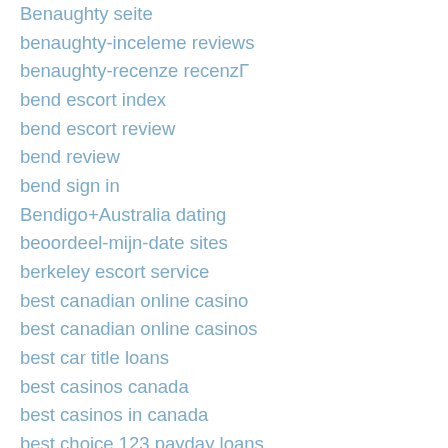Benaughty seite
benaughty-inceleme reviews
benaughty-recenze recenzΓ
bend escort index
bend escort review
bend review
bend sign in
Bendigo+Australia dating
beoordeel-mijn-date sites
berkeley escort service
best canadian online casino
best canadian online casinos
best car title loans
best casinos canada
best casinos in canada
best choice 123 payday loans
Best Cougar Dating Site
Best Dateing Sites